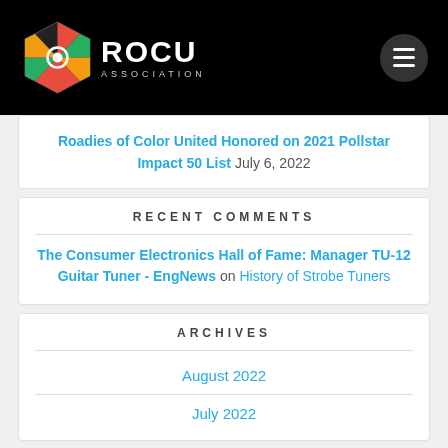ROCU ASSOCIATION
Roadies of Color United Honored on 2021 Pollstar Impact 50 List July 6, 2022
RECENT COMMENTS
The Consumer Electronics Hall of Fame: Manager TU-12 Guitar Tuner - EngNews on History of Strobe Tuners
ARCHIVES
August 2022
July 2022